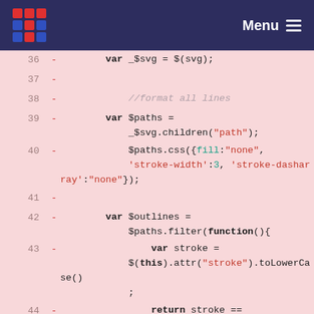Menu
[Figure (screenshot): Code diff viewer showing JavaScript code lines 36-47 with line numbers, minus signs for deletions, and syntax highlighting on pink background. Keywords in bold, strings in red, properties in teal.]